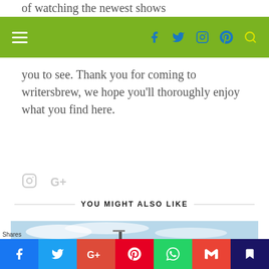of watching the newest shows
Navigation bar with hamburger menu and social icons: Facebook, Twitter, Instagram, Pinterest, Search
you to see. Thank you for coming to writersbrew, we hope you'll thoroughly enjoy what you find here.
[Figure (other): Instagram and Google Plus social icons in light grey]
YOU MIGHT ALSO LIKE
[Figure (photo): Beach scene with a park bench near the water, cloudy blue sky]
Shares bar with Facebook, Twitter, Google+, Pinterest, WhatsApp, Gmail, Bookmark share buttons